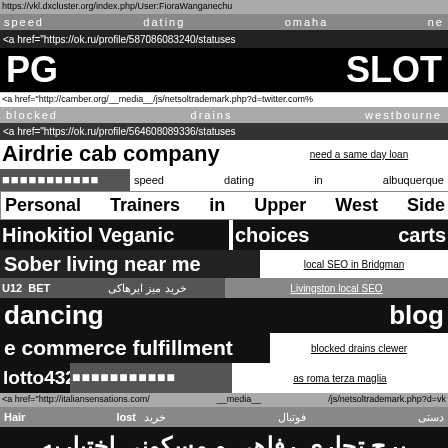https://vkl.dxcluster.org/index.php/User:FioraWanganechu
speed dating omaha ne
<a href="https://ok.ru/profile/587086083240/statuses
PG SLOT
<a href="http://camber.org/__media__/js/netsoltrademark.php?d=twitter.com%
blocked drains westbourne
<a href="https://ok.ru/profile/564608089336/statuses
Airdrie cab company
need a same day loan
■■■■■■■■■■■ speed dating in albuquerque
Personal Trainers in Upper West Side
Hinokitiol Veganic choices carts
Sober living near me
local SEO in Bridgman
U12 BET خرید میز ایرهاکی Livingston local SEO
dancing blog
e commerce fulfillment
blocked drains clewer
lotto432 ■■■■■■■■■■■
as roma terza maglia
<a href="http://italiansensations.com/__media__/js/netsoltrademark.php?d=vk
Hair lost خرید فوتبال دستی
برج تجاری رفاهی و مسکونی اختیاریه
buy my home ■■■■■ allinlotto ■■■